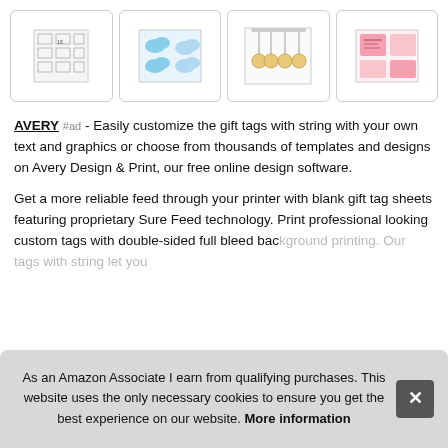[Figure (photo): Row of four product thumbnail images in rounded-corner boxes: (1) Avery label sheet template, (2) blue cloud-patterned sticker sheet, (3) decorative charm keychains, (4) pink and red patterned gift tags/card]
AVERY #ad - Easily customize the gift tags with string with your own text and graphics or choose from thousands of templates and designs on Avery Design & Print, our free online design software.
Get a more reliable feed through your printer with blank gift tag sheets featuring proprietary Sure Feed technology. Print professional looking custom tags with double-sided full bleed bac... you...
As an Amazon Associate I earn from qualifying purchases. This website uses the only necessary cookies to ensure you get the best experience on our website. More information